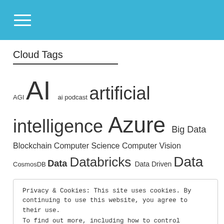[Figure (other): Blue header bar with hamburger menu icon (three white horizontal lines)]
Cloud Tags
AGI AI ai podcast artificial intelligence Azure Big Data Blockchain Computer Science Computer Vision CosmosDB Data Databricks Data Driven Data Science Deep Learning Developer Education edureka Elon Musk Frank's World TV Future IoT Lex Fridman Livestream Machine Learning Math Microsoft Neural Network Neural Networks Nvidia Olivier Bloch Physics Podcast Power BI Programming
Privacy & Cookies: This site uses cookies. By continuing to use this website, you agree to their use.
To find out more, including how to control cookies, see here:
Cookie Policy
Close and accept